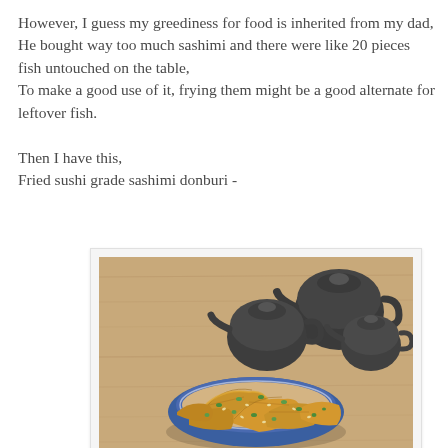However, I guess my greediness for food is inherited from my dad, He bought way too much sashimi and there were like 20 pieces fish untouched on the table, To make a good use of it, frying them might be a good alternate for leftover fish.

Then I have this,
Fried sushi grade sashimi donburi -
[Figure (photo): A bowl of fried sushi grade sashimi donburi with green onion garnish and sesame seeds, placed on a wooden table with three dark clay teapots in the background.]